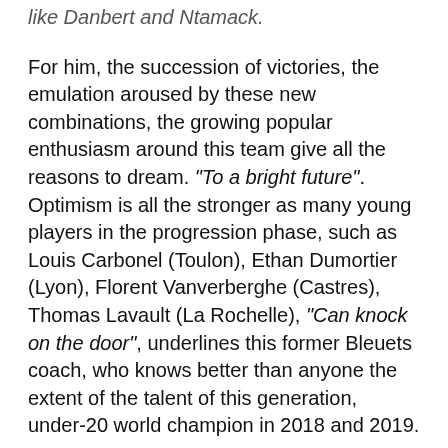like Danbert and Ntamack.
For him, the succession of victories, the emulation aroused by these new combinations, the growing popular enthusiasm around this team give all the reasons to dream. "To a bright future". Optimism is all the stronger as many young players in the progression phase, such as Louis Carbonel (Toulon), Ethan Dumortier (Lyon), Florent Vanverberghe (Castres), Thomas Lavault (La Rochelle), "Can knock on the door", underlines this former Bleuets coach, who knows better than anyone the extent of the talent of this generation, under-20 world champion in 2018 and 2019.
Two years after the entry into office of Fabien Galthié and his staff, the XV of France advances with its face uncovered. At a press conference, at the end of the meeting, the coach no longer hid his « ambition » to grab a first world title on the palmares of France.